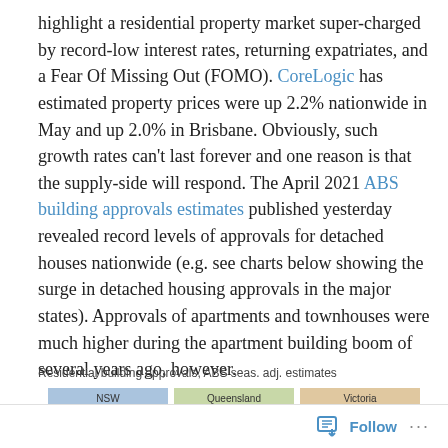highlight a residential property market super-charged by record-low interest rates, returning expatriates, and a Fear Of Missing Out (FOMO). CoreLogic has estimated property prices were up 2.2% nationwide in May and up 2.0% in Brisbane. Obviously, such growth rates can't last forever and one reason is that the supply-side will respond. The April 2021 ABS building approvals estimates published yesterday revealed record levels of approvals for detached houses nationwide (e.g. see charts below showing the surge in detached housing approvals in the major states). Approvals of apartments and townhouses were much higher during the apartment building boom of several years ago, however.
Residential building approvals, ABS seas. adj. estimates
[Figure (bar-chart): Partial bar chart showing NSW, Queensland, and Victoria columns - chart is cut off at bottom of page]
Follow ···